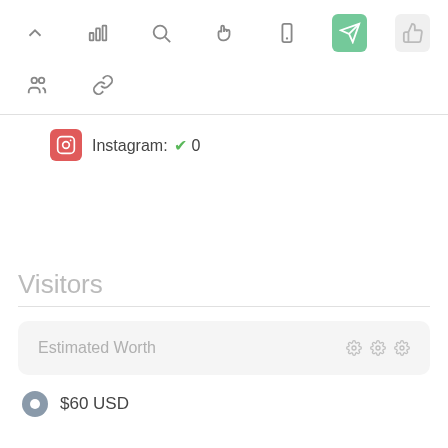[Figure (screenshot): Toolbar row with icons: chevron up, bar chart, search, cursor/hand, mobile, rocket/send (green background), thumbs up (light background)]
[Figure (screenshot): Second toolbar row with icons: group/people, chain/link]
Instagram: ✓ 0
Visitors
Estimated Worth
$60 USD